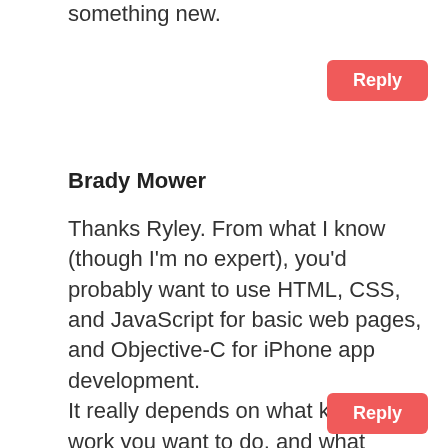something new.
Reply
Brady Mower
Thanks Ryley. From what I know (though I'm no expert), you'd probably want to use HTML, CSS, and JavaScript for basic web pages, and Objective-C for iPhone app development.
It really depends on what kind of work you want to do, and what platforms you want to develop for.
Reply